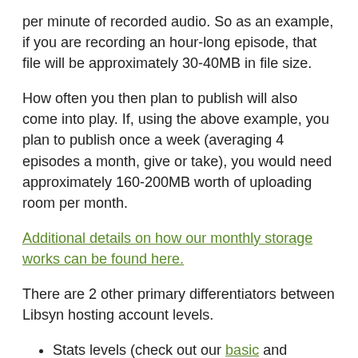per minute of recorded audio. So as an example, if you are recording an hour-long episode, that file will be approximately 30-40MB in file size.
How often you then plan to publish will also come into play. If, using the above example, you plan to publish once a week (averaging 4 episodes a month, give or take), you would need approximately 160-200MB worth of uploading room per month.
Additional details on how our monthly storage works can be found here.
There are 2 other primary differentiators between Libsyn hosting account levels.
Stats levels (check out our basic and advanced stats tutorials for additional details)
Mobile Apps (additional details can be found here)